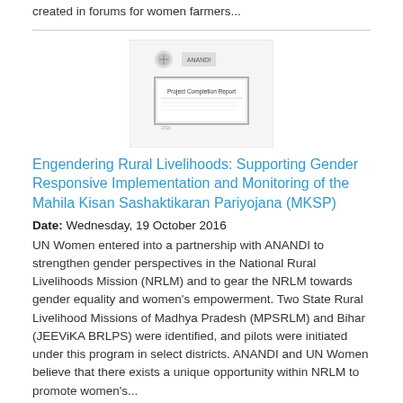created in forums for women farmers...
[Figure (screenshot): Thumbnail image of a document cover page with logos and text reading 'Project Completion Report']
Engendering Rural Livelihoods: Supporting Gender Responsive Implementation and Monitoring of the Mahila Kisan Sashaktikaran Pariyojana (MKSP)
Date: Wednesday, 19 October 2016
UN Women entered into a partnership with ANANDI to strengthen gender perspectives in the National Rural Livelihoods Mission (NRLM) and to gear the NRLM towards gender equality and women's empowerment.  Two State Rural Livelihood Missions of Madhya Pradesh (MPSRLM) and Bihar (JEEViKA BRLPS) were identified, and pilots were initiated under this program in select districts. ANANDI and UN Women believe that there exists a unique opportunity within NRLM to promote women's...